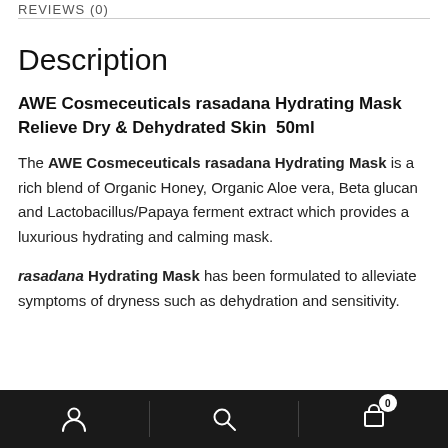REVIEWS (0)
Description
AWE Cosmeceuticals rasadana Hydrating Mask Relieve Dry & Dehydrated Skin  50ml
The AWE Cosmeceuticals rasadana Hydrating Mask is a rich blend of Organic Honey, Organic Aloe vera, Beta glucan and Lactobacillus/Papaya ferment extract which provides a luxurious hydrating and calming mask.
rasadana Hydrating Mask has been formulated to alleviate symptoms of dryness such as dehydration and sensitivity.